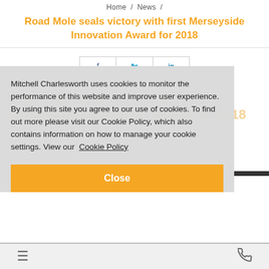Home / News /
Road Mole seals victory with first Merseyside Innovation Award for 2018
[Figure (screenshot): Social share buttons row with Facebook, Twitter, and LinkedIn icons]
Road Mole seals victory with first Merseyside Innovation Award for 2018 (background watermark text)
Mitchell Charlesworth uses cookies to monitor the performance of this website and improve user experience. By using this site you agree to our use of cookies. To find out more please visit our Cookie Policy, which also contains information on how to manage your cookie settings. View our Cookie Policy
Close